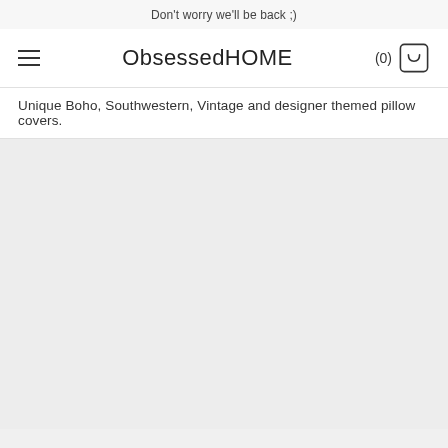Don't worry we'll be back ;)
ObsessedHOME
Unique Boho, Southwestern, Vintage and designer themed pillow covers.